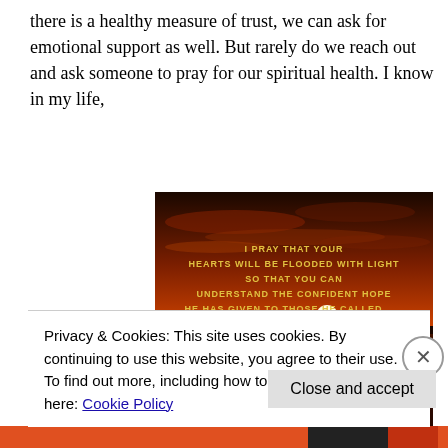there is a healthy measure of trust, we can ask for emotional support as well. But rarely do we reach out and ask someone to pray for our spiritual health. I know in my life,
[Figure (photo): Sunset over a lake with inspirational text overlay: 'I PRAY THAT YOUR HEARTS WILL BE FLOODED WITH LIGHT SO THAT YOU CAN UNDERSTAND THE CONFIDENT HOPE HE HAS GIVEN TO THOSE HE CALLED . . . EPH. 1:18']
Privacy & Cookies: This site uses cookies. By continuing to use this website, you agree to their use.
To find out more, including how to control cookies, see here: Cookie Policy